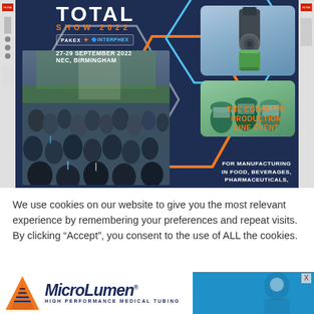[Figure (infographic): Total Show 2022 trade event advertisement. Dark navy background with hexagonal graphic elements in white and orange. Shows crowd photo on left, product photos top right. Text: TOTAL SHOW 2022, PAKEX + INTERPHEX, 27-29 SEPTEMBER 2022, NEC, BIRMINGHAM, THE COMPLETE PRODUCTION LINE EVENT, FOR MANUFACTURING IN FOOD, BEVERAGES, PHARMACEUTICALS,]
We use cookies on our website to give you the most relevant experience by remembering your preferences and repeat visits. By clicking “Accept”, you consent to the use of ALL the cookies.
[Figure (logo): MicroLumen HIGH PERFORMANCE MEDICAL TUBING advertisement banner with orange triangle logo and blue background on right side.]